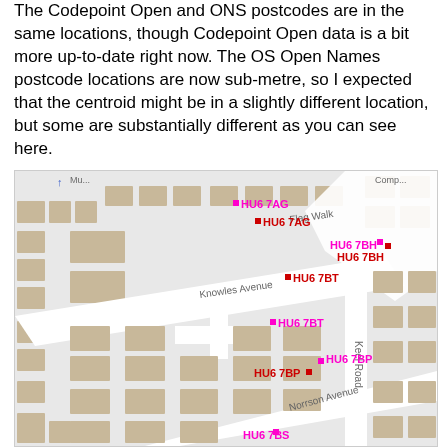The Codepoint Open and ONS postcodes are in the same locations, though Codepoint Open data is a bit more up-to-date right now. The OS Open Names postcode locations are now sub-metre, so I expected that the centroid might be in a slightly different location, but some are substantially different as you can see here.
[Figure (map): Street map showing postcode centroid locations for HU6 7AG, HU6 7BH, HU6 7BT, HU6 7BP, and HU6 7BS on Knowles Avenue area. Each postcode shown with two markers: magenta (OS Open Names) and red (Codepoint/ONS), some pairs substantially separated. Streets visible: Knowles Avenue, Keel Road, Flag Walk, Norrson Avenue.]